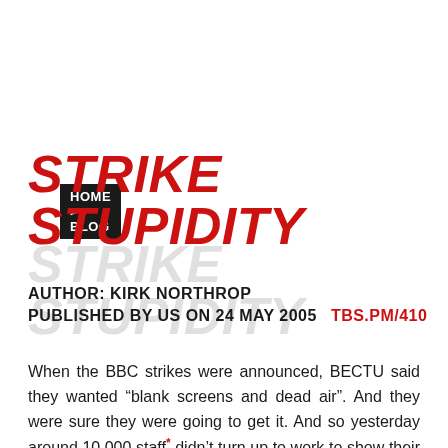HOME > BLOG
STRIKE STUPIDITY
AUTHOR: KIRK NORTHROP
PUBLISHED BY US ON 24 MAY 2005   TBS.PM/410
When the BBC strikes were announced, BECTU said they wanted “blank screens and dead air”. And they were sure they were going to get it. And so yesterday around 10,000 staff* didn’t turn up to work to show their anger at 3,780 proposed job cuts.